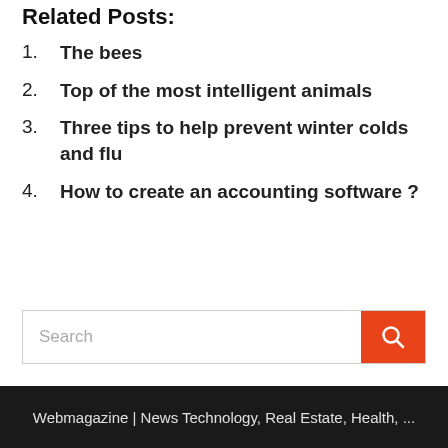Related Posts:
The bees
Top of the most intelligent animals
Three tips to help prevent winter colds and flu
How to create an accounting software ?
[Figure (other): Search input box with orange search button containing a magnifying glass icon]
Webmagazine | News Technology, Real Estate, Health, ...